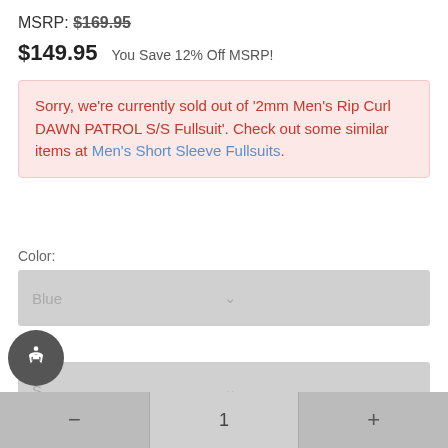MSRP: $169.95
$149.95    You Save 12% Off MSRP!
Sorry, we're currently sold out of '2mm Men's Rip Curl DAWN PATROL S/S Fullsuit'. Check out some similar items at Men's Short Sleeve Fullsuits.
Color:
Blue
Size:
S
1